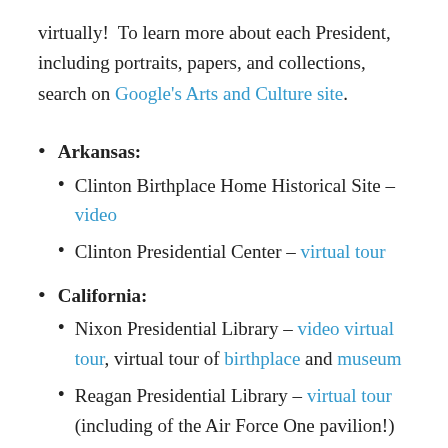virtually!  To learn more about each President, including portraits, papers, and collections, search on Google's Arts and Culture site.
Arkansas:
Clinton Birthplace Home Historical Site – video
Clinton Presidential Center – virtual tour
California:
Nixon Presidential Library – video virtual tour, virtual tour of birthplace and museum
Reagan Presidential Library – virtual tour (including of the Air Force One pavilion!) and